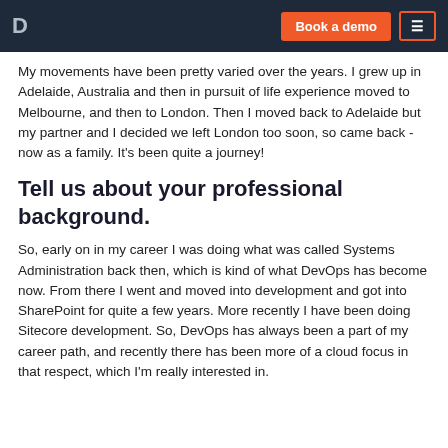D | Book a demo | ≡
My movements have been pretty varied over the years. I grew up in Adelaide, Australia and then in pursuit of life experience moved to Melbourne, and then to London. Then I moved back to Adelaide but my partner and I decided we left London too soon, so came back - now as a family. It's been quite a journey!
Tell us about your professional background.
So, early on in my career I was doing what was called Systems Administration back then, which is kind of what DevOps has become now. From there I went and moved into development and got into SharePoint for quite a few years. More recently I have been doing Sitecore development. So, DevOps has always been a part of my career path, and recently there has been more of a cloud focus in that respect, which I'm really interested in.